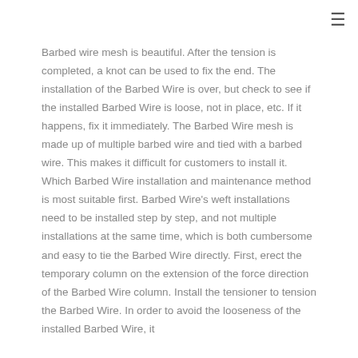Barbed wire mesh is beautiful. After the tension is completed, a knot can be used to fix the end. The installation of the Barbed Wire is over, but check to see if the installed Barbed Wire is loose, not in place, etc. If it happens, fix it immediately. The Barbed Wire mesh is made up of multiple barbed wire and tied with a barbed wire. This makes it difficult for customers to install it. Which Barbed Wire installation and maintenance method is most suitable first. Barbed Wire's weft installations need to be installed step by step, and not multiple installations at the same time, which is both cumbersome and easy to tie the Barbed Wire directly. First, erect the temporary column on the extension of the force direction of the Barbed Wire column. Install the tensioner to tension the Barbed Wire. In order to avoid the looseness of the installed Barbed Wire, it